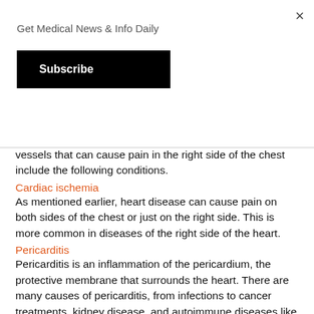Get Medical News & Info Daily
Subscribe
vessels that can cause pain in the right side of the chest include the following conditions.
Cardiac ischemia
As mentioned earlier, heart disease can cause pain on both sides of the chest or just on the right side. This is more common in diseases of the right side of the heart.
Pericarditis
Pericarditis is an inflammation of the pericardium, the protective membrane that surrounds the heart. There are many causes of pericarditis, from infections to cancer treatments, kidney disease, and autoimmune diseases like rheumatoid arthritis.
Pericarditis is also common after a heart attack. The pain is usually worse in certain positions and worsens with deep breaths.